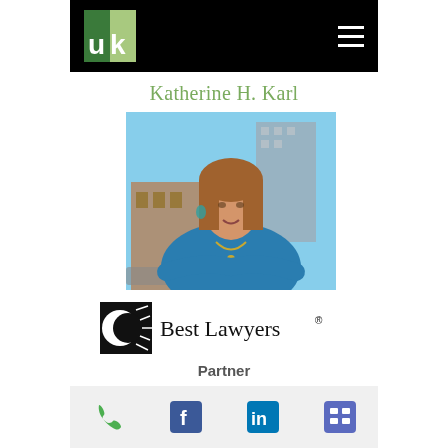UK Law Firm – Navigation header with logo and hamburger menu
Katherine H. Karl
[Figure (photo): Professional headshot of Katherine H. Karl, a woman with shoulder-length brown hair wearing a teal blazer, arms crossed, standing in front of a city background]
[Figure (logo): Best Lawyers registered trademark logo with sunburst icon and text]
Partner
Contact icons: phone, Facebook, LinkedIn, vCard/menu